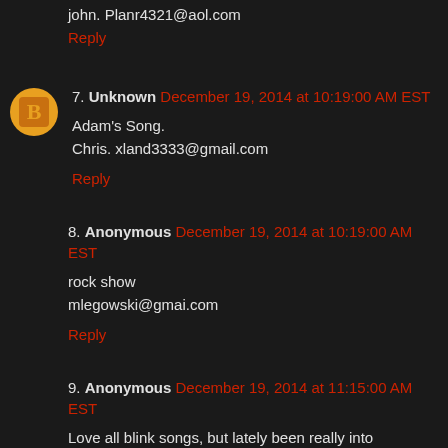john. Planr4321@aol.com
Reply
7. Unknown December 19, 2014 at 10:19:00 AM EST
Adam's Song.
Chris. xland3333@gmail.com
Reply
8. Anonymous December 19, 2014 at 10:19:00 AM EST
rock show
mlegowski@gmai.com
Reply
9. Anonymous December 19, 2014 at 11:15:00 AM EST
Love all blink songs, but lately been really into